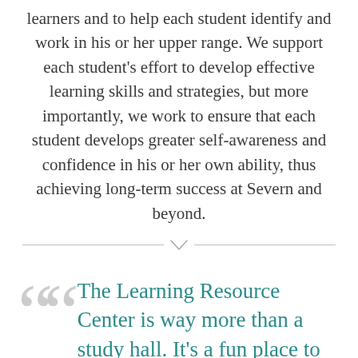learners and to help each student identify and work in his or her upper range. We support each student's effort to develop effective learning skills and strategies, but more importantly, we work to ensure that each student develops greater self-awareness and confidence in his or her own ability, thus achieving long-term success at Severn and beyond.
The Learning Resource Center is way more than a study hall. It's a fun place to hang out and